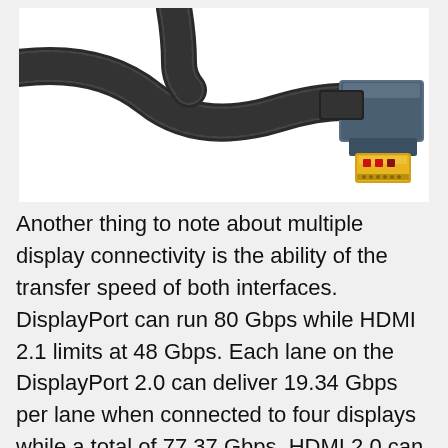[Figure (photo): Photo of an HDMI cable with braided black nylon exterior and gold-tipped connector with red contact strip, shown against a white background. The cable curves from the left side and the connector head is on the right with a gray/blue housing.]
Another thing to note about multiple display connectivity is the ability of the transfer speed of both interfaces. DisplayPort can run 80 Gbps while HDMI 2.1 limits at 48 Gbps. Each lane on the DisplayPort 2.0 can deliver 19.34 Gbps per lane when connected to four displays while a total of 77.37 Gbps. HDMI 2.0 can deliver 14.4 Gbps per lane. The above differ...